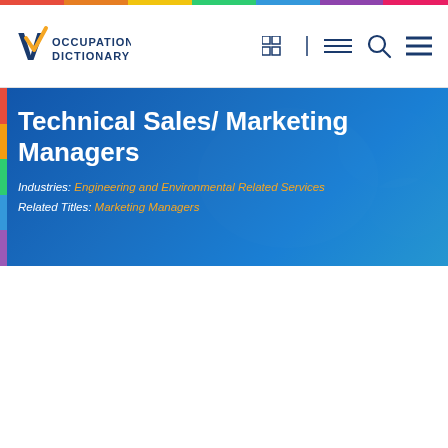VTC OCCUPATION DICTIONARY
Technical Sales/ Marketing Managers
Industries: Engineering and Environmental Related Services
Related Titles: Marketing Managers
Descriptions & Duties
[Figure (photo): Group of professionals looking upward, office environment in background]